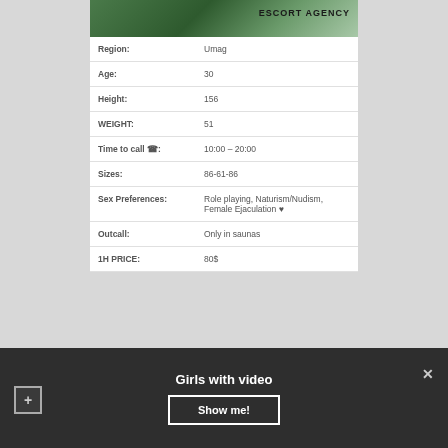[Figure (photo): Banner image with dark green nature/water background and text 'ESCORT AGENCY' in bold black letters on the right side]
| Region: | Umag |
| Age: | 30 |
| Height: | 156 |
| WEIGHT: | 51 |
| Time to call ☎: | 10:00 – 20:00 |
| Sizes: | 86-61-86 |
| Sex Preferences: | Role playing, Naturism/Nudism, Female Ejaculation ♥ |
| Outcall: | Only in saunas |
| 1H PRICE: | 80$ |
Girls with video
Show me!